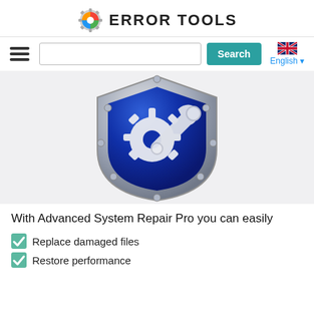[Figure (logo): Error Tools logo: gear icon with colorful Windows-style colored sections and text 'ERROR TOOLS']
[Figure (other): Navigation bar with hamburger menu, search input field, Search button (teal), and UK flag with English language selector]
[Figure (illustration): Large blue metallic shield with gear/wrench icon on grey background]
With Advanced System Repair Pro you can easily
Replace damaged files
Restore performance